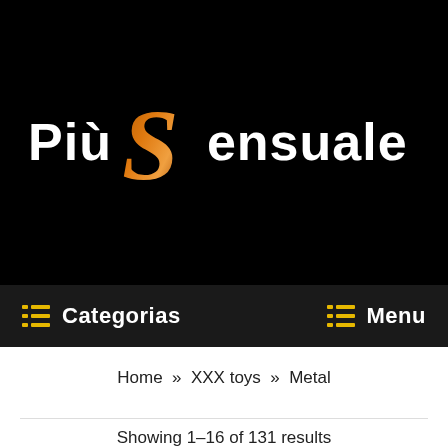[Figure (logo): Più Sensuale website logo with stylized copper/gold S letter on black background]
[Figure (infographic): Navigation icons: user account, shopping cart, and search icons in white outline on black background, with placeholder text 'Pesquise aqui o que procura']
Categorias   Menu
Home » XXX toys » Metal
Showing 1–16 of 131 results